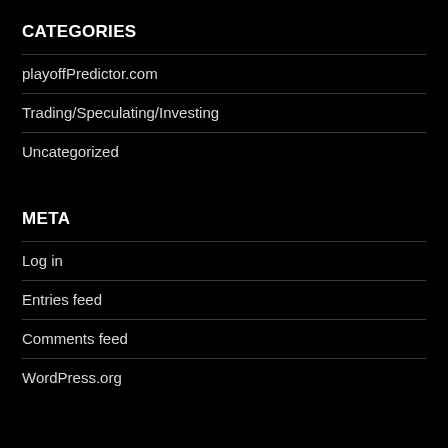CATEGORIES
playoffPredictor.com
Trading/Speculating/Investing
Uncategorized
META
Log in
Entries feed
Comments feed
WordPress.org